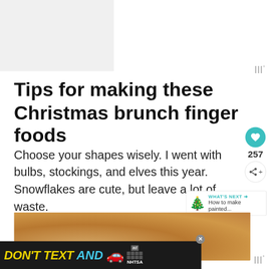Tips for making these Christmas brunch finger foods
Choose your shapes wisely. I went with bulbs, stockings, and elves this year. Snowflakes are cute, but leave a lot of waste.
[Figure (photo): Close-up photo of Christmas brunch finger foods / baked goods on a surface]
[Figure (other): DON'T TEXT AND drive advertisement banner by NHTSA with yellow DON'T TEXT text, cyan AND text, and red car emoji]